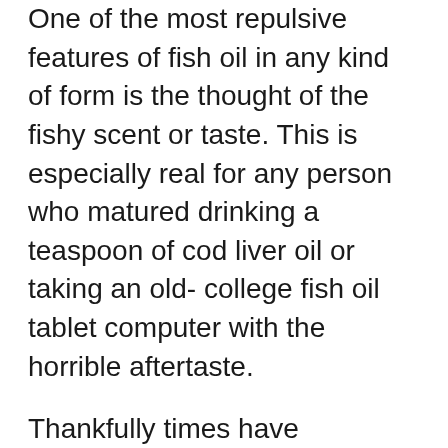One of the most repulsive features of fish oil in any kind of form is the thought of the fishy scent or taste. This is especially real for any person who matured drinking a teaspoon of cod liver oil or taking an old- college fish oil tablet computer with the horrible aftertaste.
Thankfully times have transformed and today's krill oil softgels are very advanced. Some softgels utilize a specially-formulated capsule to postpone the release of fish oil; some make use of a flavorful pill. The Krill Oil Plus softgels have a subtle vanilla flavor. This smells like fresh baked cookies – and I have not experienced any type of dubious aftertaste.
Serving Dimension as well